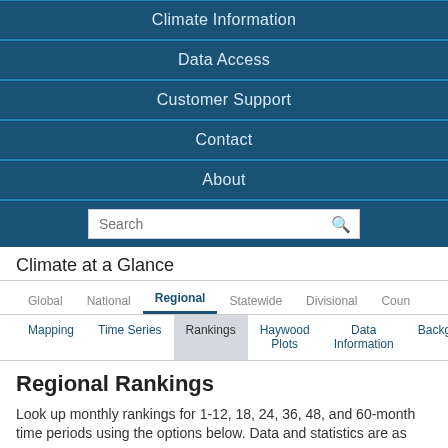Climate Information
Data Access
Customer Support
Contact
About
Climate at a Glance
Regional Rankings
Look up monthly rankings for 1-12, 18, 24, 36, 48, and 60-month time periods using the options below. Data and statistics are as